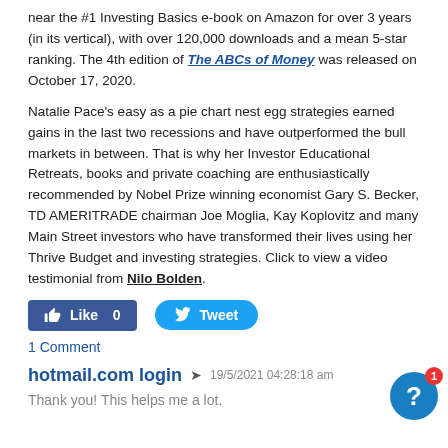near the #1 Investing Basics e-book on Amazon for over 3 years (in its vertical), with over 120,000 downloads and a mean 5-star ranking. The 4th edition of The ABCs of Money was released on October 17, 2020.
Natalie Pace's easy as a pie chart nest egg strategies earned gains in the last two recessions and have outperformed the bull markets in between. That is why her Investor Educational Retreats, books and private coaching are enthusiastically recommended by Nobel Prize winning economist Gary S. Becker, TD AMERITRADE chairman Joe Moglia, Kay Koplovitz and many Main Street investors who have transformed their lives using her Thrive Budget and investing strategies. Click to view a video testimonial from Nilo Bolden.
[Figure (other): Social sharing buttons: Facebook Like (0) button and Twitter Tweet button]
1 Comment
hotmail.com login  19/5/2021 04:28:18 am
Thank you! This helps me a lot.